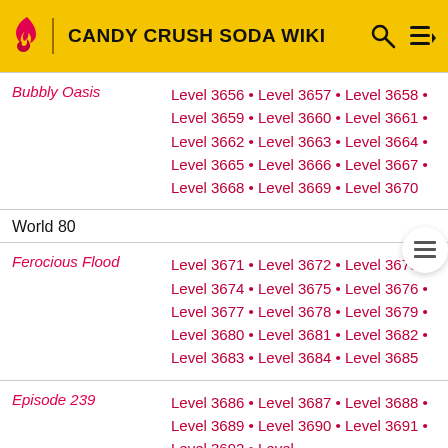CANDY CRUSH SODA WIKI
| Episode | Levels |
| --- | --- |
| Bubbly Oasis | Level 3656 • Level 3657 • Level 3658 • Level 3659 • Level 3660 • Level 3661 • Level 3662 • Level 3663 • Level 3664 • Level 3665 • Level 3666 • Level 3667 • Level 3668 • Level 3669 • Level 3670 |
World 80
| Episode | Levels |
| --- | --- |
| Ferocious Flood | Level 3671 • Level 3672 • Level 3673 • Level 3674 • Level 3675 • Level 3676 • Level 3677 • Level 3678 • Level 3679 • Level 3680 • Level 3681 • Level 3682 • Level 3683 • Level 3684 • Level 3685 |
| Episode 239 | Level 3686 • Level 3687 • Level 3688 • Level 3689 • Level 3690 • Level 3691 • Level 3692 • Level … |